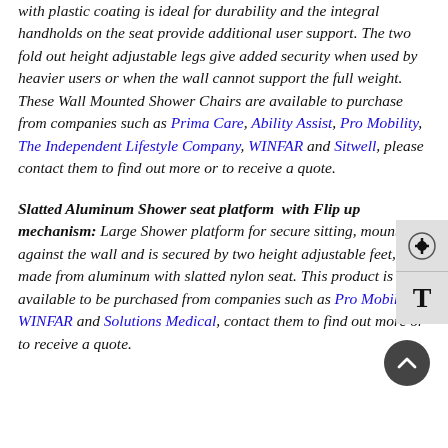with plastic coating is ideal for durability and the integral handholds on the seat provide additional user support. The two fold out height adjustable legs give added security when used by heavier users or when the wall cannot support the full weight. These Wall Mounted Shower Chairs are available to purchase from companies such as Prima Care, Ability Assist, Pro Mobility, The Independent Lifestyle Company, WINFAR and Sitwell, please contact them to find out more or to receive a quote.
Slatted Aluminum Shower seat platform with Flip up mechanism: Large Shower platform for secure sitting, mounts against the wall and is secured by two height adjustable feet, made from aluminum with slatted nylon seat. This product is available to be purchased from companies such as Pro Mobility, WINFAR and Solutions Medical, contact them to find out more or to receive a quote.